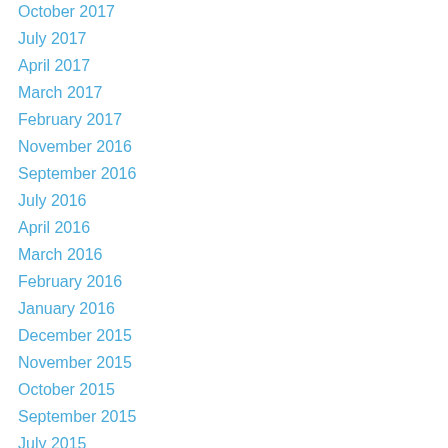October 2017
July 2017
April 2017
March 2017
February 2017
November 2016
September 2016
July 2016
April 2016
March 2016
February 2016
January 2016
December 2015
November 2015
October 2015
September 2015
July 2015
June 2015
March 2015
January 2015